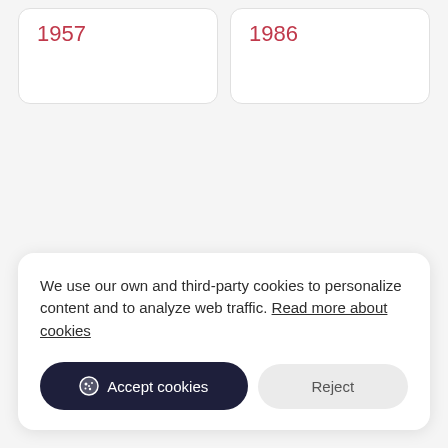1957
1986
We use our own and third-party cookies to personalize content and to analyze web traffic. Read more about cookies
Accept cookies
Reject